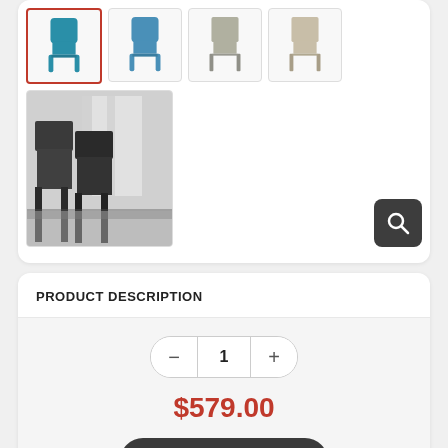[Figure (photo): Product thumbnail images of dining chairs in various colors (teal selected, blue, gray/beige, beige) and a room scene photo showing dark chairs at a table]
PRODUCT DESCRIPTION
Quantity selector showing 1
$579.00
Add to Cart
Piuma Edition Dining Chair by Cattelan Italia